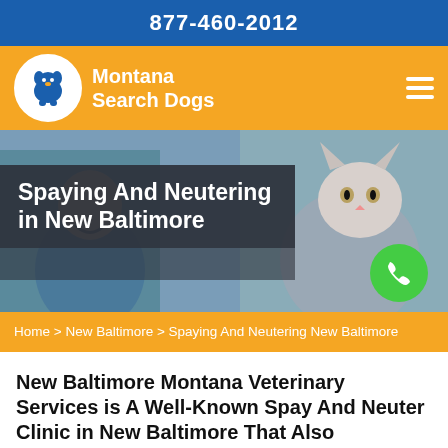877-460-2012
[Figure (logo): Montana Search Dogs logo with dog illustration in white circle on orange background, with hamburger menu icon]
[Figure (photo): Hero image showing a veterinarian in scrubs and a person holding a white/grey cat, with dark semi-transparent overlay containing the title text and a green phone button]
Spaying And Neutering in New Baltimore
Home > New Baltimore > Spaying And Neutering New Baltimore
New Baltimore Montana Veterinary Services is A Well-Known Spay And Neuter Clinic in New Baltimore That Also